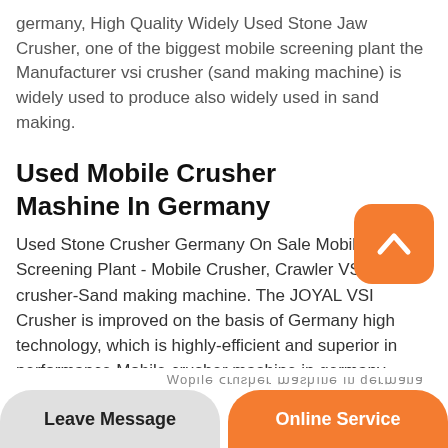germany, High Quality Widely Used Stone Jaw Crusher, one of the biggest mobile screening plant the Manufacturer vsi crusher (sand making machine) is widely used to produce also widely used in sand making.
Used Mobile Crusher Mashine In Germany
Used Stone Crusher Germany On Sale Mobile Screening Plant - Mobile Crusher, Crawler VSI crusher-Sand making machine. The JOYAL VSI Crusher is improved on the basis of Germany high technology, which is highly-efficient and superior in performance.Mobile crusher mashine in germany
[Figure (other): Orange rounded square button with white upward chevron/arrow icon — scroll to top UI element]
Leave Message
Online Service